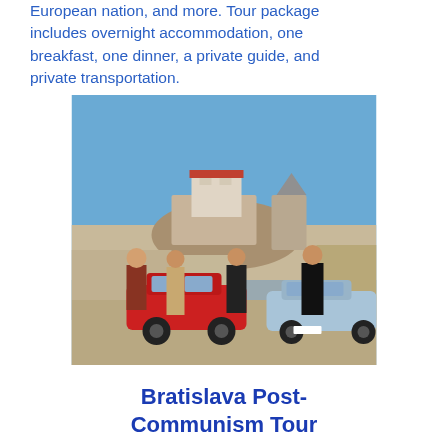European nation, and more. Tour package includes overnight accommodation, one breakfast, one dinner, a private guide, and private transportation.
[Figure (photo): Four people standing next to vintage communist-era cars (a red and a light blue car) on a riverbank with Bratislava Castle and St. Martin's Cathedral visible in the background under a clear blue sky.]
Bratislava Post-Communism Tour